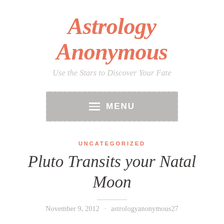Astrology Anonymous
Use the Stars to Discover Your Fate
[Figure (other): Menu button with hamburger icon and MENU label on grey background with dashed border]
UNCATEGORIZED
Pluto Transits your Natal Moon
November 9, 2012 · astrologyanonymous27